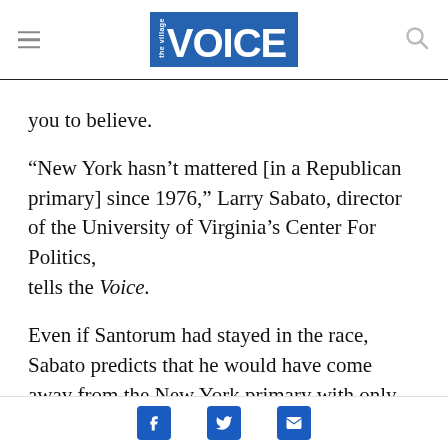the village VOICE
you to believe.
“New York hasn’t mattered [in a Republican primary] since 1976,” Larry Sabato, director of the University of Virginia’s Center For Politics, tells the Voice.
Even if Santorum had stayed in the race, Sabato predicts that he would have come away from the New York primary with only 26 delegates. Mitt
Facebook | Twitter | Email